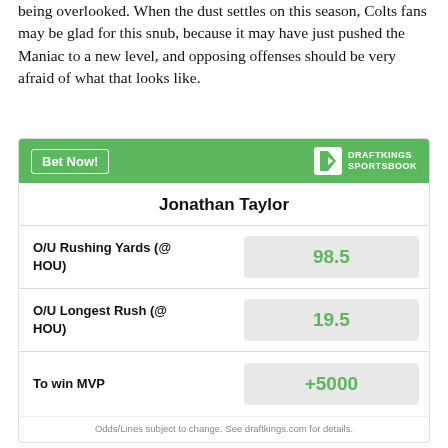being overlooked. When the dust settles on this season, Colts fans may be glad for this snub, because it may have just pushed the Maniac to a new level, and opposing offenses should be very afraid of what that looks like.
|  |  |
| --- | --- |
| Jonathan Taylor |  |
| O/U Rushing Yards (@ HOU) | 98.5 |
| O/U Longest Rush (@ HOU) | 19.5 |
| To win MVP | +5000 |
Odds/Lines subject to change. See draftkings.com for details.